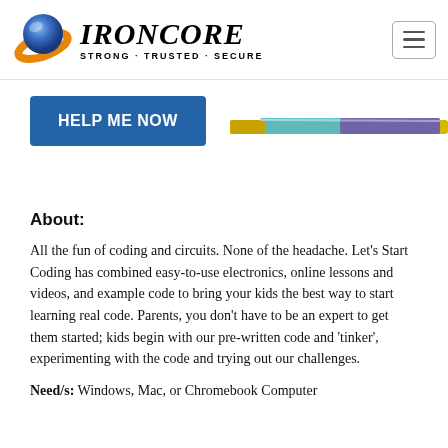[Figure (logo): IronCore logo with blue sphere and orange arc, with text IRONCORE STRONG · TRUSTED · SECURE]
[Figure (other): Hamburger menu button (three horizontal lines in a rounded rectangle)]
[Figure (other): HELP ME NOW blue button]
[Figure (photo): A colorful electronics/coding kit product image (a board or cable with yellow, blue, purple colors)]
About:
All the fun of coding and circuits. None of the headache. Let's Start Coding has combined easy-to-use electronics, online lessons and videos, and example code to bring your kids the best way to start learning real code. Parents, you don't have to be an expert to get them started; kids begin with our pre-written code and 'tinker', experimenting with the code and trying out our challenges.
Need/s: Windows, Mac, or Chromebook Computer